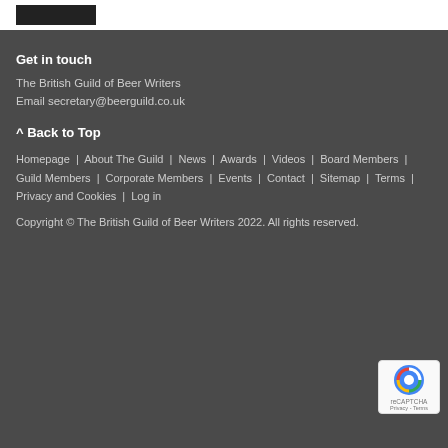Get in touch
The British Guild of Beer Writers
Email secretary@beerguild.co.uk
^ Back to Top
Homepage | About The Guild | News | Awards | Videos | Board Members | Guild Members | Corporate Members | Events | Contact | Sitemap | Terms | Privacy and Cookies | Log in
Copyright © The British Guild of Beer Writers 2022. All rights reserved.